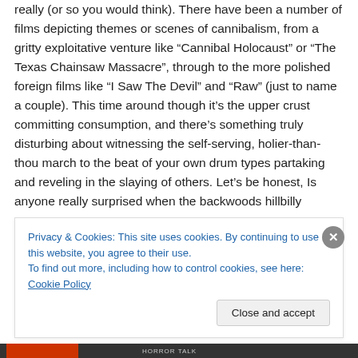really (or so you would think). There have been a number of films depicting themes or scenes of cannibalism, from a gritty exploitative venture like “Cannibal Holocaust” or “The Texas Chainsaw Massacre”, through to the more polished foreign films like “I Saw The Devil” and “Raw” (just to name a couple). This time around though it’s the upper crust committing consumption, and there’s something truly disturbing about witnessing the self-serving, holier-than-thou march to the beat of your own drum types partaking and reveling in the slaying of others. Let’s be honest, Is anyone really surprised when the backwoods hillbilly
Privacy & Cookies: This site uses cookies. By continuing to use this website, you agree to their use.
To find out more, including how to control cookies, see here: Cookie Policy